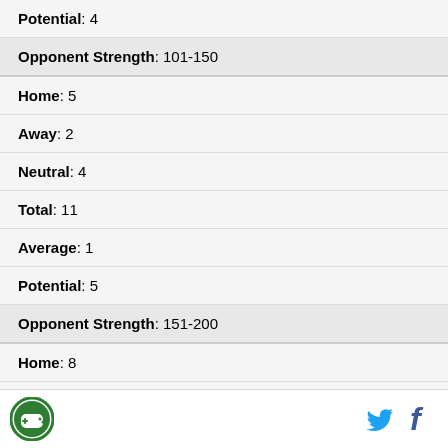Potential : 4
Opponent Strength : 101-150
Home : 5
Away : 2
Neutral : 4
Total : 11
Average : 1
Potential : 5
Opponent Strength : 151-200
Home : 8
Away : 11
[Figure (logo): Circular green logo with game controller icon and Twitter and Facebook social media icons]